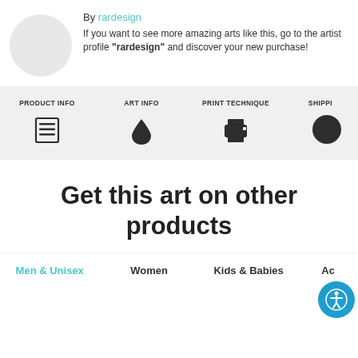By rardesign
If you want to see more amazing arts like this, go to the artist profile "rardesign" and discover your new purchase!
[Figure (infographic): Navigation tabs with icons: PRODUCT INFO (list icon), ART INFO (water drop icon), PRINT TECHNIQUE (printer icon), SHIPPING (partially visible circle icon)]
Get this art on other products
Men & Unisex   Women   Kids & Babies   Ac...